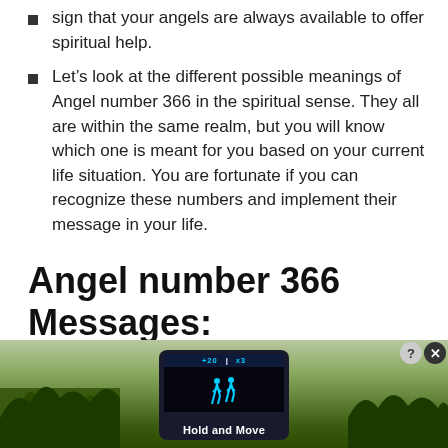sign that your angels are always available to offer spiritual help.
Let’s look at the different possible meanings of Angel number 366 in the spiritual sense. They all are within the same realm, but you will know which one is meant for you based on your current life situation. You are fortunate if you can recognize these numbers and implement their message in your life.
Angel number 366 Messages:
The unique message that an Angel Number has for you as an individual depends very much
[Figure (screenshot): Advertisement overlay showing a mobile app screenshot with 'Hold and Move' text over an outdoor photo background, with close (X) and help (?) buttons.]